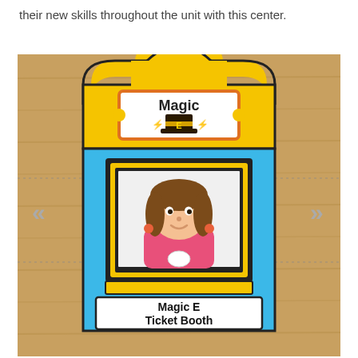their new skills throughout the unit with this center.
[Figure (photo): A colorful educational 'Magic E Ticket Booth' prop showing a yellow booth top with an orange-framed 'Magic E' ticket sign, a blue booth body with a cartoon girl in a window, and a white sign reading 'Magic E Ticket Booth' in bold black text. The booth is placed on a wooden surface. Navigation arrows (double left and double right chevrons) appear on the sides.]